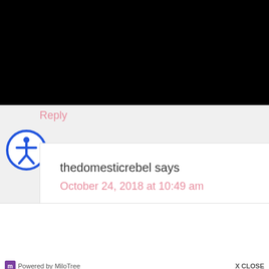Reply
[Figure (illustration): Blue accessibility icon - circular icon with blue border and white figure of a person in open pose]
thedomesticrebel says
October 24, 2018 at 10:49 am
Subscribe to our Newsletter
Sign up for our newsletter and get our latest updates!
Email Address
Subscribe
[Figure (logo): MiloTree logo - purple/violet square with white letter m]
Powered by MiloTree
X CLOSE